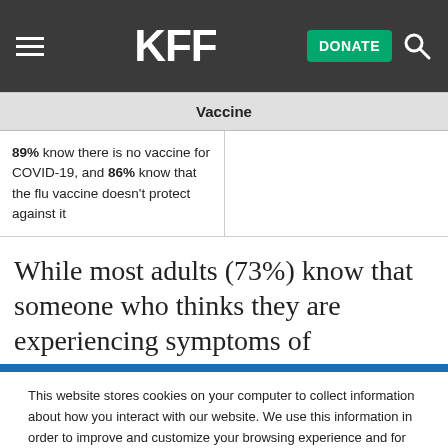KFF — DONATE
| Vaccine |  |
| --- | --- |
| 89% know there is no vaccine for COVID-19, and 86% know that the flu vaccine doesn't protect against it |  |
While most adults (73%) know that someone who thinks they are experiencing symptoms of
This website stores cookies on your computer to collect information about how you interact with our website. We use this information in order to improve and customize your browsing experience and for analytics and metrics about our visitors both on this website and other media. To find out more about the cookies we use, see our Privacy Policy.
Accept